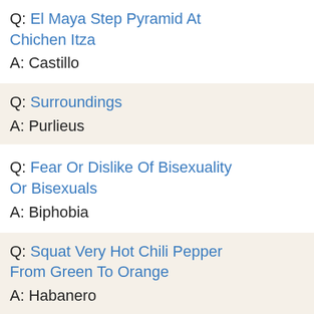Q: El Maya Step Pyramid At Chichen Itza
A: Castillo
Q: Surroundings
A: Purlieus
Q: Fear Or Dislike Of Bisexuality Or Bisexuals
A: Biphobia
Q: Squat Very Hot Chili Pepper From Green To Orange
A: Habanero